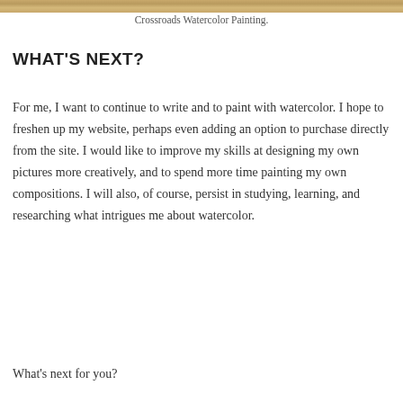[Figure (photo): Top strip of a watercolor painting image, showing sandy/earthy tones — partial view of Crossroads Watercolor Painting]
Crossroads Watercolor Painting.
WHAT'S NEXT?
For me, I want to continue to write and to paint with watercolor. I hope to freshen up my website, perhaps even adding an option to purchase directly from the site. I would like to improve my skills at designing my own pictures more creatively, and to spend more time painting my own compositions. I will also, of course, persist in studying, learning, and researching what intrigues me about watercolor.
What's next for you?